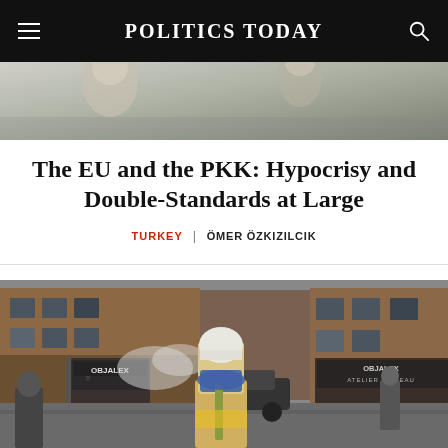POLITICS TODAY
[Figure (photo): Top cropped photo showing people, likely a crowd or rally scene]
The EU and the PKK: Hypocrisy and Double-Standards at Large
TURKEY | ÖMER ÖZKIZILCIK
[Figure (photo): Street scene showing protesters or bystanders in front of storefronts including OBJALEX and ATELIER DE BEAUTE, with smoke or gas in the background. A person in the foreground wears a white beanie and pulls a blue scarf over their face.]